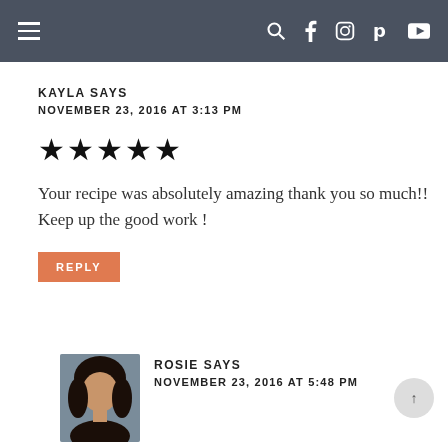≡  🔍 f 📷 𝗽 ▶
KAYLA SAYS
NOVEMBER 23, 2016 AT 3:13 PM
[Figure (other): Five filled star rating icons]
Your recipe was absolutely amazing thank you so much!! Keep up the good work !
REPLY
[Figure (photo): Profile photo of Rosie, a woman with curly dark hair]
ROSIE SAYS
NOVEMBER 23, 2016 AT 5:48 PM
Hi Kayla. Glad that you liked the recipe!